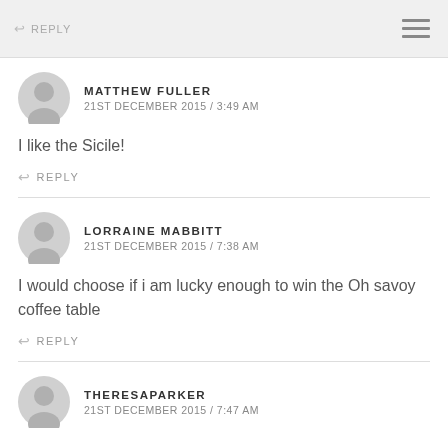REPLY
MATTHEW FULLER
21ST DECEMBER 2015 / 3:49 AM
I like the Sicile!
REPLY
LORRAINE MABBITT
21ST DECEMBER 2015 / 7:38 AM
I would choose if i am lucky enough to win the Oh savoy coffee table
REPLY
THERESAPARKER
21ST DECEMBER 2015 / 7:47 AM